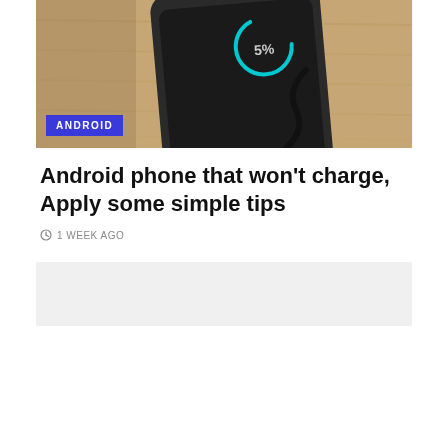[Figure (photo): An Android smartphone charging via cable, lying on a wooden surface. The phone screen shows a teal/cyan circular charging indicator. A blue badge with text 'ANDROID' is overlaid in the lower-left corner of the image.]
Android phone that won't charge, Apply some simple tips
1 WEEK AGO